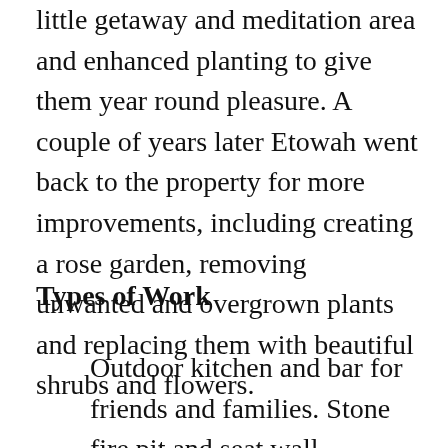little getaway and meditation area and enhanced planting to give them year round pleasure. A couple of years later Etowah went back to the property for more improvements, including creating a rose garden, removing unwanted and overgrown plants and replacing them with beautiful shrubs and flowers.
Types of Work
Outdoor kitchen and bar for friends and families. Stone fire pit and seat wall.